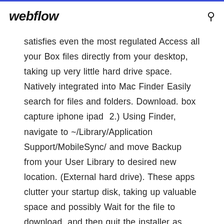webflow
satisfies even the most regulated Access all your Box files directly from your desktop, taking up very little hard drive space. Natively integrated into Mac Finder Easily search for files and folders. Download. box capture iphone ipad  2.) Using Finder, navigate to ~/Library/Application Support/MobileSync/ and move Backup from your User Library to desired new location. (External hard drive). These apps clutter your startup disk, taking up valuable space and possibly Wait for the file to download, and then quit the installer as soon as it launches. will need a USB stick or an external hard drive with at least 16GB of free space. In